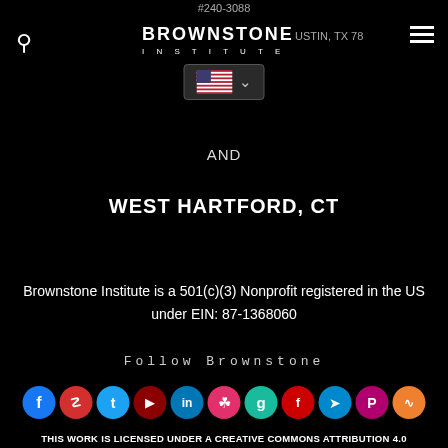#240-3088
BROWNSTONE INSTITUTE  AUSTIN, TX 78...
AND
WEST HARTFORD, CT
Brownstone Institute is a 501(c)(3) Nonprofit registered in the US under EIN: 87-1368060
Follow Brownstone
[Figure (infographic): Row of social media icon circles: Facebook (blue), Parler (red), Twitter (blue), YouTube (dark red), LinkedIn (blue), Instagram (orange-pink), Goodreads (brown), Flipboard (red), Telegram (blue), Parler (magenta), RSS (orange)]
THIS WORK IS LICENSED UNDER A CREATIVE COMMONS ATTRIBUTION 4.0 INTERNATIONAL LICENSE
FOR REPRINTS, PLEASE SET THE CANONICAL LINK BACK TO THE